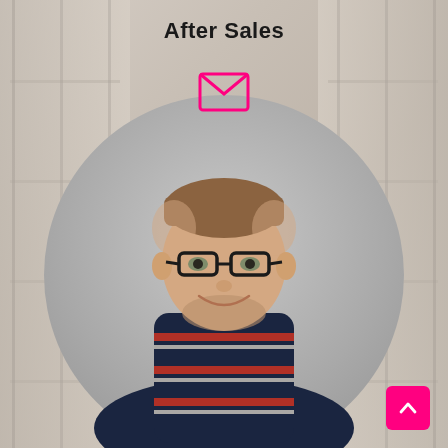After Sales
[Figure (illustration): Email envelope icon in pink/magenta outline style]
[Figure (photo): Man with glasses and stubble beard, wearing a dark navy striped polo shirt with red and white stripes, smiling, against a circular grey background with warehouse shelving in the background]
[Figure (illustration): Pink/magenta square button with upward-pointing chevron arrow in bottom-right corner]